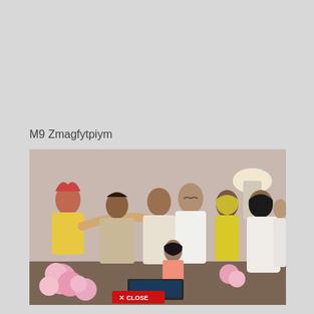M9 Zmagfytpiym
[Figure (photo): Group of people seated together in a room, wearing colorful traditional South Asian clothing (yellow, white, pink). One person in white is being playfully surrounded by others. Pink flowers visible in foreground. A floor lamp is visible on the right side. A close button overlay is visible at the bottom center.]